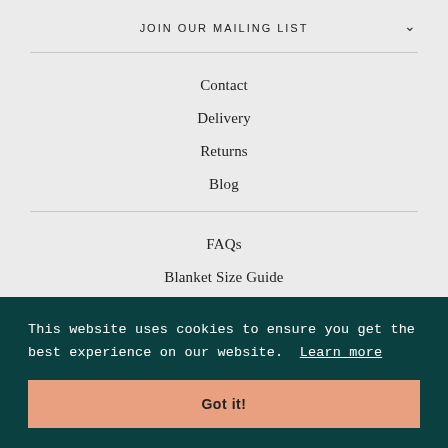JOIN OUR MAILING LIST
Contact
Delivery
Returns
Blog
FAQs
Blanket Size Guide
Wool Care Guide
Trade
This website uses cookies to ensure you get the best experience on our website. Learn more
Got it!